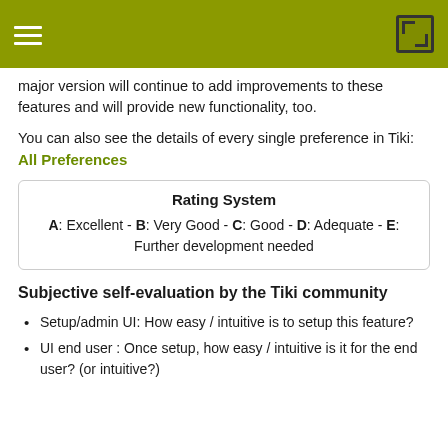major version will continue to add improvements to these features and will provide new functionality, too.
You can also see the details of every single preference in Tiki: All Preferences
| Rating System |
| A: Excellent - B: Very Good - C: Good - D: Adequate - E: Further development needed |
Subjective self-evaluation by the Tiki community
Setup/admin UI: How easy / intuitive is to setup this feature?
UI end user : Once setup, how easy / intuitive is it for the end user? (or intuitive?)